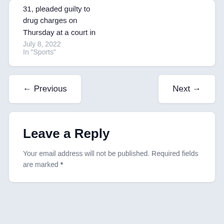31, pleaded guilty to drug charges on Thursday at a court in
July 8, 2022
In "Sports"
← Previous
Next →
Leave a Reply
Your email address will not be published. Required fields are marked *